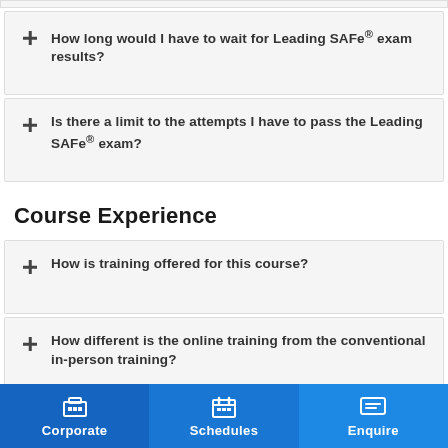How long would I have to wait for Leading SAFe® exam results?
Is there a limit to the attempts I have to pass the Leading SAFe® exam?
Course Experience
How is training offered for this course?
How different is the online training from the conventional in-person training?
Who will be the instructors?
Corporate   Schedules   Enquire